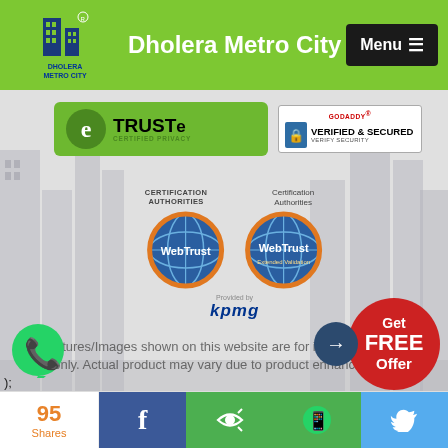Dholera Metro City
[Figure (logo): TRUSTe Certified Privacy badge and GoDaddy Verified & Secured badge]
[Figure (logo): WebTrust Certification Authorities badges (two) provided by KPMG]
All Pictures/Images shown on this website are for illustration purpose only. Actual product may vary due to product enhancement.
);
[Figure (logo): Get FREE Offer button (red circle with arrow)]
[Figure (logo): WhatsApp contact button]
95 Shares | Facebook | Share | WhatsApp | Twitter